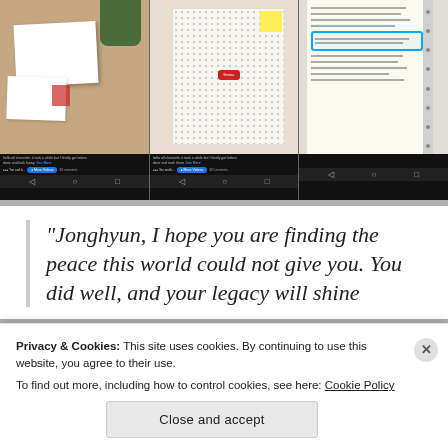[Figure (photo): Three smartphone screenshots side by side showing social media posts about letters from Jonghyun. Left and center show papers on a table and a dotted notebook. Right shows a handwritten notebook with a blue highlighted/circled passage. Each phone shows a bottom navigation bar and a 'More Videos' button.]
“Jonghyun, I hope you are finding the peace this world could not give you. You did well, and your legacy will shine
Privacy & Cookies: This site uses cookies. By continuing to use this website, you agree to their use.
To find out more, including how to control cookies, see here: Cookie Policy
Close and accept